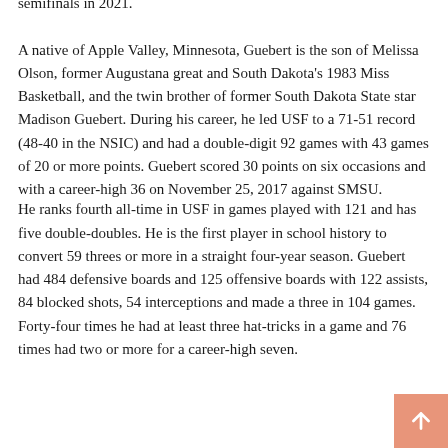semifinals in 2021.
A native of Apple Valley, Minnesota, Guebert is the son of Melissa Olson, former Augustana great and South Dakota's 1983 Miss Basketball, and the twin brother of former South Dakota State star Madison Guebert. During his career, he led USF to a 71-51 record (48-40 in the NSIC) and had a double-digit 92 games with 43 games of 20 or more points. Guebert scored 30 points on six occasions and with a career-high 36 on November 25, 2017 against SMSU.
He ranks fourth all-time in USF in games played with 121 and has five double-doubles. He is the first player in school history to convert 59 threes or more in a straight four-year season. Guebert had 484 defensive boards and 125 offensive boards with 122 assists, 84 blocked shots, 54 interceptions and made a three in 104 games. Forty-four times he had at least three hat-tricks in a game and 76 times had two or more for a career-high seven.